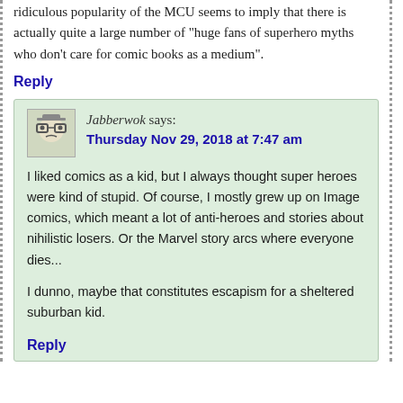ridiculous popularity of the MCU seems to imply that there is actually quite a large number of "huge fans of superhero myths who don't care for comic books as a medium".
Reply
Jabberwok says: Thursday Nov 29, 2018 at 7:47 am
I liked comics as a kid, but I always thought super heroes were kind of stupid. Of course, I mostly grew up on Image comics, which meant a lot of anti-heroes and stories about nihilistic losers. Or the Marvel story arcs where everyone dies...
I dunno, maybe that constitutes escapism for a sheltered suburban kid.
Reply